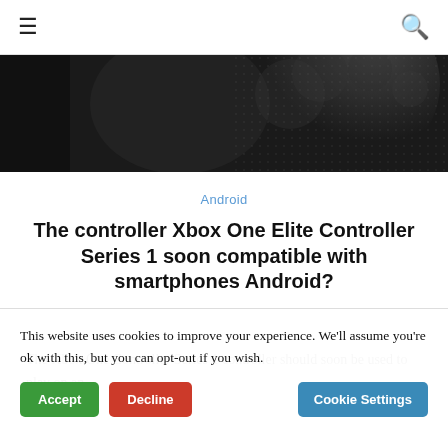≡  🔍
[Figure (photo): Dark black/grey textured background showing part of an Xbox controller]
Android
The controller Xbox One Elite Controller Series 1 soon compatible with smartphones Android?
The Xbox One Controller Series 1 controller should soon be used to play on an…
This website uses cookies to improve your experience. We'll assume you're ok with this, but you can opt-out if you wish.
Accept  Decline  Cookie Settings